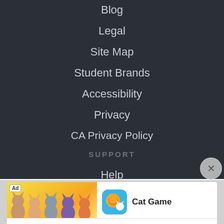Blog
Legal
Site Map
Student Brands
Accessibility
Privacy
CA Privacy Policy
SUPPORT
Help
Contact Us
CA Do Not Sell My Personal Information
[Figure (screenshot): Mobile advertisement banner for Cat Game app showing cartoon cats on yellow background with app icon and Play Now button]